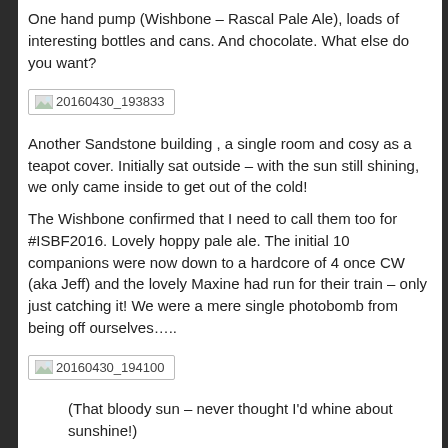One hand pump (Wishbone – Rascal Pale Ale), loads of interesting bottles and cans. And chocolate. What else do you want?
[Figure (photo): Broken/missing image placeholder labeled 20160430_193833]
Another Sandstone building , a single room and cosy as a teapot cover. Initially sat outside – with the sun still shining, we only came inside to get out of the cold!
The Wishbone confirmed that I need to call them too for #ISBF2016. Lovely hoppy pale ale. The initial 10 companions were now down to a hardcore of 4 once CW (aka Jeff) and the lovely Maxine had run for their train – only just catching it! We were a mere single photobomb from being off ourselves…..
[Figure (photo): Broken/missing image placeholder labeled 20160430_194100]
(That bloody sun – never thought I'd whine about sunshine!)
A fine day. Everyone enjoyed themselves, the sun was out and Hebden Bridge looked lovely. As it always does.